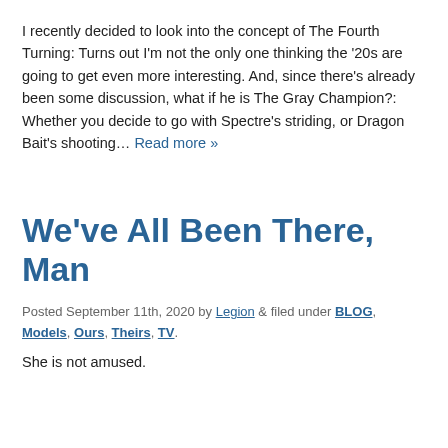I recently decided to look into the concept of The Fourth Turning: Turns out I'm not the only one thinking the '20s are going to get even more interesting. And, since there's already been some discussion, what if he is The Gray Champion?: Whether you decide to go with Spectre's striding, or Dragon Bait's shooting… Read more »
We've All Been There, Man
Posted September 11th, 2020 by Legion & filed under BLOG, Models, Ours, Theirs, TV.
She is not amused.